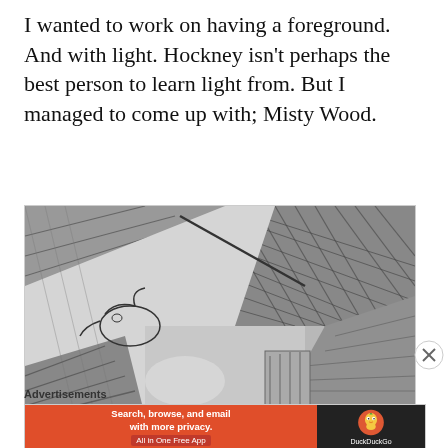I wanted to work on having a foreground. And with light. Hockney isn't perhaps the best person to learn light from. But I managed to come up with; Misty Wood.
[Figure (illustration): A pencil/charcoal sketch drawing showing heavily cross-hatched lines creating a dark, textured scene with abstract forms suggesting a landscape or interior with dramatic shading.]
Advertisements
[Figure (other): DuckDuckGo advertisement banner: 'Search, browse, and email with more privacy. All in One Free App' with DuckDuckGo logo on dark background.]